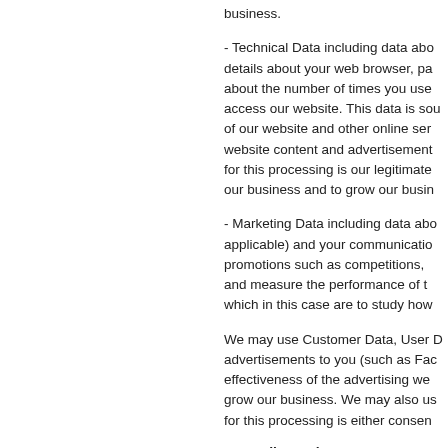business.
- Technical Data including data about details about your web browser, pa about the number of times you use access our website. This data is sou of our website and other online ser website content and advertisement for this processing is our legitimate our business and to grow our busin
- Marketing Data including data abo applicable) and your communicatio promotions such as competitions, and measure the performance of t which in this case are to study how
We may use Customer Data, User D advertisements to you (such as Fac effectiveness of the advertising we grow our business. We may also us for this processing is either consen
4. Email newsletters
If you have registered a business